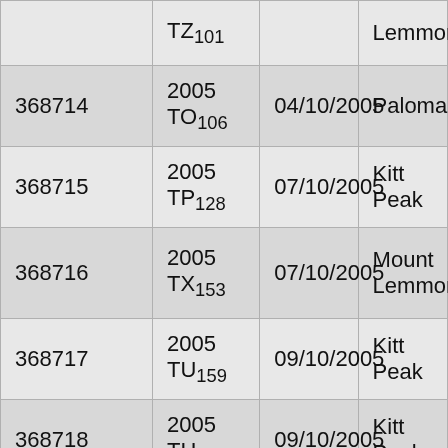|  | TZ₁₀₁ |  | Lemmon |
| 368714 | 2005 TO₁₀₆ | 04/10/2005 | Palomar |
| 368715 | 2005 TP₁₂₈ | 07/10/2005 | Kitt Peak |
| 368716 | 2005 TX₁₅₃ | 07/10/2005 | Mount Lemmon |
| 368717 | 2005 TU₁₅₉ | 09/10/2005 | Kitt Peak |
| 368718 | 2005 TH₁₆₃ | 09/10/2005 | Kitt Peak |
| 368719 Asparuh | 2005 UT₁₂ | 25/10/2005 | Plana |
| 368720 | 2005 UE | 22/10/2005 | Kitt Peak |